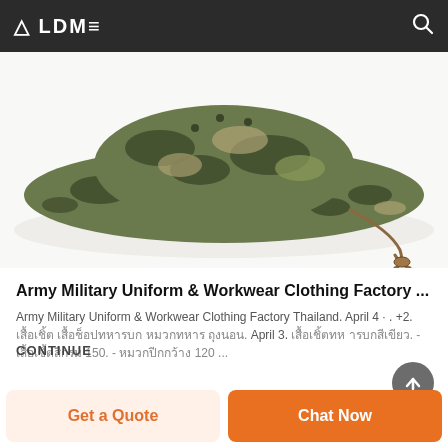A LDM≡
[Figure (photo): A camouflage military boonie hat with a wide brim and a brown chin strap/cord, viewed from above on a white background.]
Army Military Uniform & Workwear Clothing Factory ...
Army Military Uniform & Workwear Clothing Factory Thailand. April 4 · . +2. [Thai text]. April 3. [Thai text]. - [Thai text] 150. - [Thai text] 120 ...
CONTINUE
Get a Quote
Chat Now